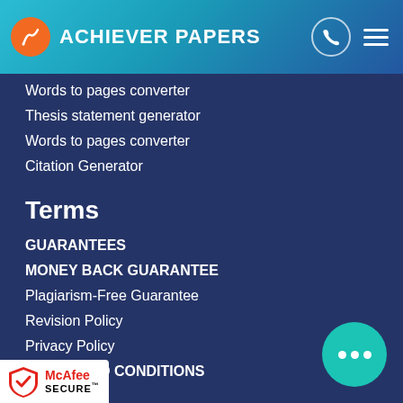ACHIEVER PAPERS
Words to pages converter
Thesis statement generator
Words to pages converter
Citation Generator
Terms
GUARANTEES
MONEY BACK GUARANTEE
Plagiarism-Free Guarantee
Revision Policy
Privacy Policy
TERMS AND CONDITIONS
[Figure (logo): McAfee SECURE badge with shield logo]
[Figure (illustration): Teal chat bubble with three dots]